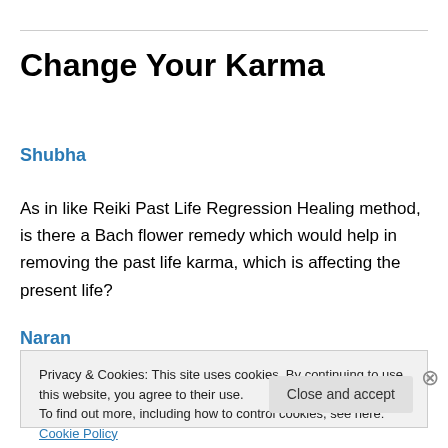Change Your Karma
Shubha
As in like Reiki Past Life Regression Healing method, is there a Bach flower remedy which would help in removing the past life karma, which is affecting the present life?
Naran
Privacy & Cookies: This site uses cookies. By continuing to use this website, you agree to their use.
To find out more, including how to control cookies, see here: Cookie Policy